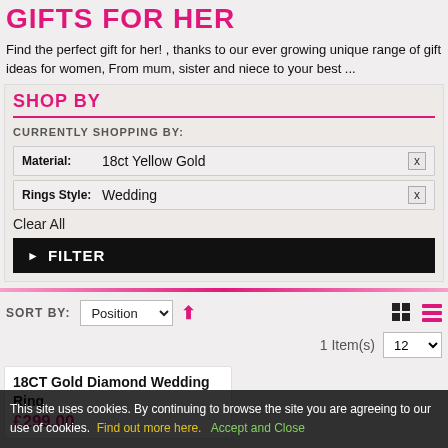GIFTS FOR HER
Find the perfect gift for her! , thanks to our ever growing unique range of gift ideas for women, From mum, sister and niece to your best ...
SHOP BY
CURRENTLY SHOPPING BY:
Material: 18ct Yellow Gold x
Rings Style: Wedding x
Clear All
▶ FILTER
SORT BY: Position ↑
1 Item(s) 12
18CT Gold Diamond Wedding Ring £299.00
This site uses cookies. By continuing to browse the site you are agreeing to our use of cookies. Find out more here. Accept and Close